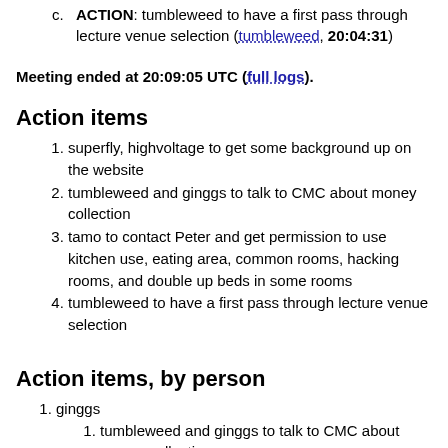c. ACTION: tumbleweed to have a first pass through lecture venue selection (tumbleweed, 20:04:31)
Meeting ended at 20:09:05 UTC (full logs).
Action items
1. superfly, highvoltage to get some background up on the website
2. tumbleweed and ginggs to talk to CMC about money collection
3. tamo to contact Peter and get permission to use kitchen use, eating area, common rooms, hacking rooms, and double up beds in some rooms
4. tumbleweed to have a first pass through lecture venue selection
Action items, by person
1. ginggs
1. tumbleweed and ginggs to talk to CMC about money collection
2. highvoltage